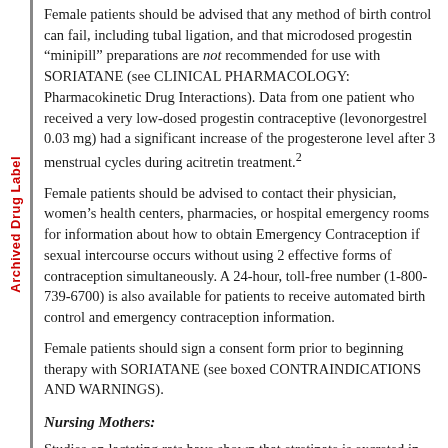Archived Drug Label
Female patients should be advised that any method of birth control can fail, including tubal ligation, and that microdosed progestin “minipill” preparations are not recommended for use with SORIATANE (see CLINICAL PHARMACOLOGY: Pharmacokinetic Drug Interactions). Data from one patient who received a very low-dosed progestin contraceptive (levonorgestrel 0.03 mg) had a significant increase of the progesterone level after 3 menstrual cycles during acitretin treatment.2
Female patients should be advised to contact their physician, women’s health centers, pharmacies, or hospital emergency rooms for information about how to obtain Emergency Contraception if sexual intercourse occurs without using 2 effective forms of contraception simultaneously. A 24-hour, toll-free number (1-800-739-6700) is also available for patients to receive automated birth control and emergency contraception information.
Female patients should sign a consent form prior to beginning therapy with SORIATANE (see boxed CONTRAINDICATIONS AND WARNINGS).
Nursing Mothers:
Studies on lactating rats have shown that etretinate is excreted in the milk. There is one prospective case report